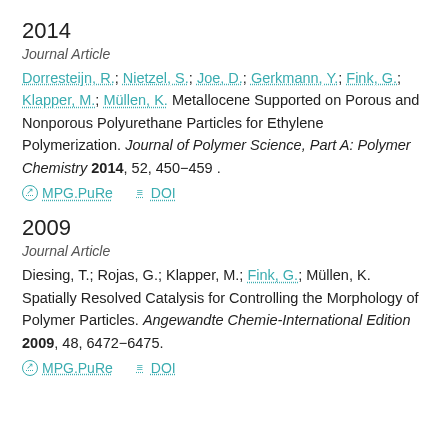2014
Journal Article
Dorresteijn, R.; Nietzel, S.; Joe, D.; Gerkmann, Y.; Fink, G.; Klapper, M.; Müllen, K. Metallocene Supported on Porous and Nonporous Polyurethane Particles for Ethylene Polymerization. Journal of Polymer Science, Part A: Polymer Chemistry 2014, 52, 450−459 .
MPG.PuRe   DOI
2009
Journal Article
Diesing, T.; Rojas, G.; Klapper, M.; Fink, G.; Müllen, K. Spatially Resolved Catalysis for Controlling the Morphology of Polymer Particles. Angewandte Chemie-International Edition 2009, 48, 6472−6475.
MPG.PuRe   DOI